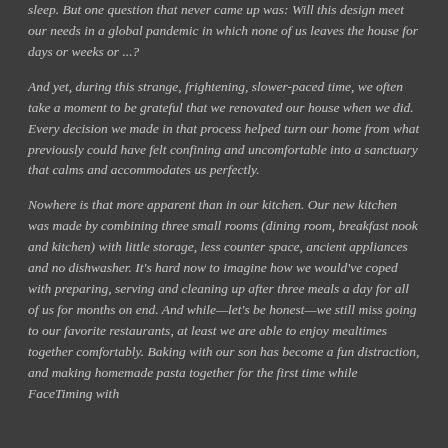sleep. But one question that never came up was: Will this design meet our needs in a global pandemic in which none of us leaves the house for days or weeks or ...?
And yet, during this strange, frightening, slower-paced time, we often take a moment to be grateful that we renovated our house when we did. Every decision we made in that process helped turn our home from what previously could have felt confining and uncomfortable into a sanctuary that calms and accommodates us perfectly.
Nowhere is that more apparent than in our kitchen. Our new kitchen was made by combining three small rooms (dining room, breakfast nook and kitchen) with little storage, less counter space, ancient appliances and no dishwasher. It's hard now to imagine how we would've coped with preparing, serving and cleaning up after three meals a day for all of us for months on end. And while—let's be honest—we still miss going to our favorite restaurants, at least we are able to enjoy mealtimes together comfortably. Baking with our son has become a fun distraction, and making homemade pasta together for the first time while FaceTiming with